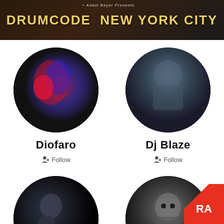[Figure (illustration): Drumcode New York City event banner with dark background and yellow text]
[Figure (photo): Circular portrait photo of DJ Diofaro with red and blue lighting]
Diofaro
Follow
[Figure (photo): Circular portrait photo of Dj Blaze]
Dj Blaze
Follow
[Figure (photo): Circular portrait photo of Elegant Hands in profile, dark background]
Elegant Hands
[Figure (photo): Circular portrait photo of Fabian Ar... (truncated), black and white]
Fabian Ar...
[Figure (logo): Resident Advisor RA logo in white on red triangle corner]